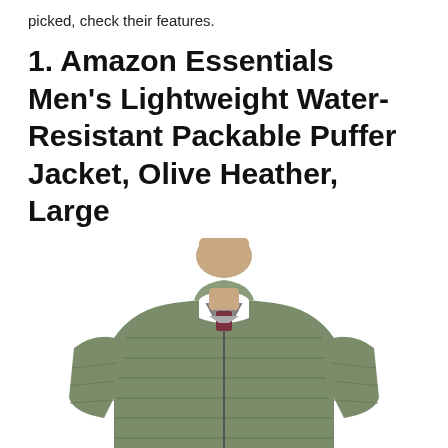picked, check their features.
1. Amazon Essentials Men's Lightweight Water-Resistant Packable Puffer Jacket, Olive Heather, Large
[Figure (photo): A man wearing an olive green lightweight puffer jacket, shot from chest up, showing the jacket's quilted texture and zip-up front with a stand collar.]